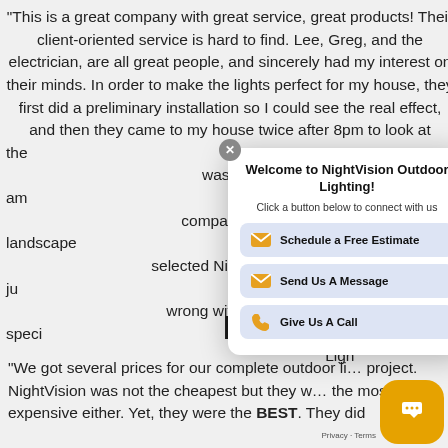"This is a great company with great service, great products! Their client-oriented service is hard to find. Lee, Greg, and the electrician, are all great people, and sincerely had my interest on their minds. In order to make the lights perfect for my house, they first did a preliminary installation so I could see the real effect, and then they came to my house twice after 8pm to look at the … was totally satisfied. I am … compared several landscape … selected NightVision, and I ju… wrong with the lighting speci… Ligh…
[Figure (screenshot): A chat popup overlay with title 'Welcome to NightVision Outdoor Lighting!' and three buttons: 'Schedule a Free Estimate', 'Send Us A Message', 'Give Us A Call', with a close X button in the top left corner.]
DIA
"We got several prices for our complete outdoor li… project. NightVision was not the cheapest but they w… the most expensive either. Yet, they were the BEST. They did